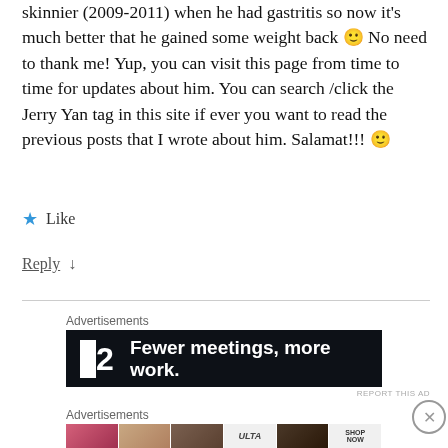skinnier (2009-2011) when he had gastritis so now it's much better that he gained some weight back 🙂 No need to thank me! Yup, you can visit this page from time to time for updates about him. You can search /click the Jerry Yan tag in this site if ever you want to read the previous posts that I wrote about him. Salamat!!! 🙂
★ Like
Reply ↓
Advertisements
[Figure (screenshot): Dark advertisement banner for a software product showing a square icon with '■2' and text 'Fewer meetings, more work.']
REPORT THIS AD
Advertisements
[Figure (screenshot): ULTA Beauty advertisement showing makeup imagery with lips, brushes, eyes and 'SHOP NOW' text]